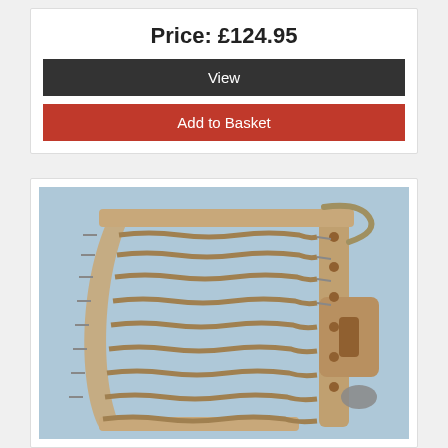Price: £124.95
View
Add to Basket
[Figure (photo): A mechanical device with multiple coil springs arranged in parallel rows on a curved metal frame, with a mechanical locking mechanism on the right side, photographed on a light blue background.]